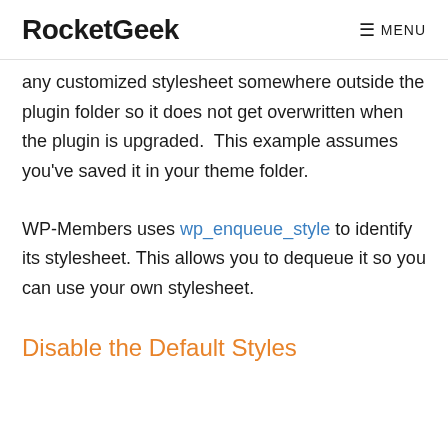RocketGeek    ☰ MENU
any customized stylesheet somewhere outside the plugin folder so it does not get overwritten when the plugin is upgraded.  This example assumes you've saved it in your theme folder.
WP-Members uses wp_enqueue_style to identify its stylesheet. This allows you to dequeue it so you can use your own stylesheet.
Disable the Default Styles